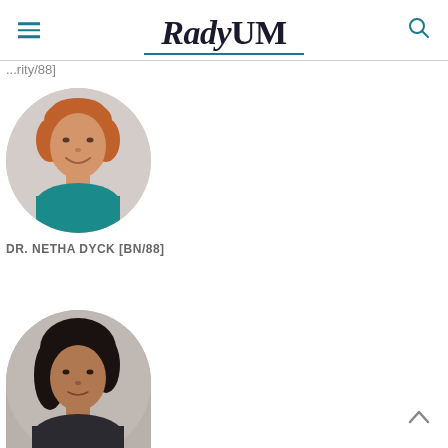RadyUM
...rity/88]
[Figure (photo): Circular headshot photo of Dr. Netha Dyck, a woman with short reddish-brown hair, smiling, wearing a teal top]
DR. NETHA DYCK [BN/88]
[Figure (photo): Circular headshot photo of a woman with dark shoulder-length hair, wearing a dark jacket, partially cropped at bottom]